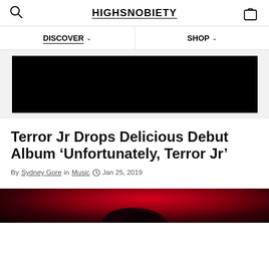HIGHSNOBIETY
DISCOVER
SHOP
[Figure (photo): Black rectangular banner image area]
Terror Jr Drops Delicious Debut Album ‘Unfortunately, Terror Jr’
By Sydney Gore in Music ○ Jan 25, 2019
[Figure (photo): Article header photo showing a person illuminated by red light against a dark background]